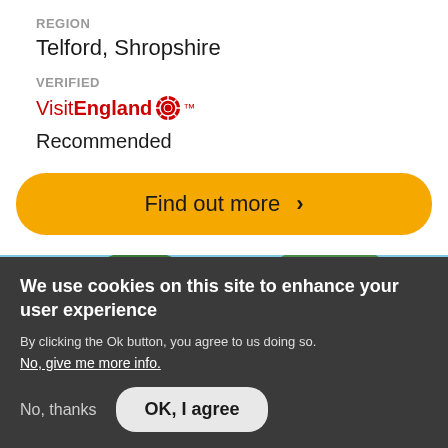REGION
Telford, Shropshire
VERIFIED
VisitEngland® Recommended
Find out more >
[Figure (photo): Outdoor landscape photo showing green trees and blue sky]
We use cookies on this site to enhance your user experience
By clicking the Ok button, you agree to us doing so.
No, give me more info.
No, thanks
OK, I agree